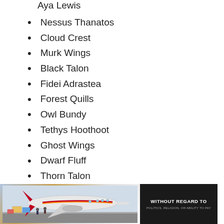Aya Lewis
Nessus Thanatos
Cloud Crest
Murk Wings
Black Talon
Fidei Adrastea
Forest Quills
Owl Bundy
Tethys Hoothoot
Ghost Wings
Dwarf Fluff
Thorn Talon
Zaharia Aegle
Star Fluff
[Figure (photo): Cargo airplane being loaded on tarmac with luggage/freight, with an advertisement overlay reading 'WITHOUT REGARD TO POLITICS, RELIGION, OR ABILITY TO PAY']